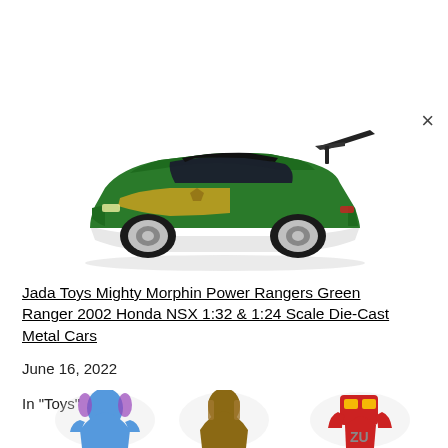[Figure (photo): Green die-cast toy car - Jada Toys Green Ranger 2002 Honda NSX with black spoiler, gold/yellow side graphics, white lower body, chrome wheels. The car is photographed on a white background at a slight angle.]
Jada Toys Mighty Morphin Power Rangers Green Ranger 2002 Honda NSX 1:32 & 1:24 Scale Die-Cast Metal Cars
June 16, 2022
In "Toys"
[Figure (photo): Three partial images of toy figurines or characters visible at the bottom of the page: a blue character on the left, a brown/gold character in the center, and a red robotic figure on the right.]